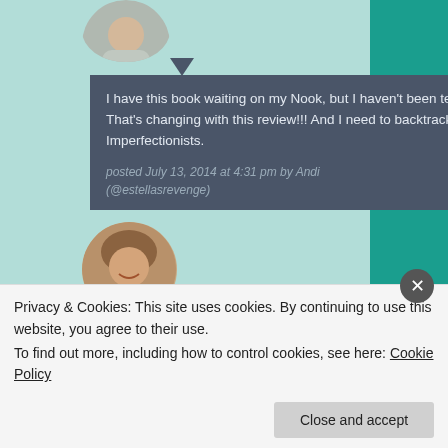[Figure (photo): Circular avatar photo of a person (partially visible) at top]
I have this book waiting on my Nook, but I haven't been terribly excited to read it. That's changing with this review!!! And I need to backtrack and read The Imperfectionists.
posted July 13, 2014 at 4:31 pm by Andi (@estellasrevenge)   Reply
[Figure (photo): Circular avatar photo of a smiling woman with short brown hair]
No, I think you should read this one
Privacy & Cookies: This site uses cookies. By continuing to use this website, you agree to their use.
To find out more, including how to control cookies, see here: Cookie Policy
Close and accept